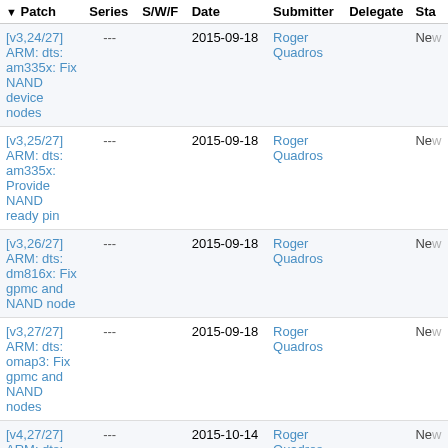| Patch | Series | S/W/F | Date | Submitter | Delegate | Sta |
| --- | --- | --- | --- | --- | --- | --- |
| [v3,24/27] ARM: dts: am335x: Fix NAND device nodes | --- |  | 2015-09-18 | Roger Quadros |  | Ne |
| [v3,25/27] ARM: dts: am335x: Provide NAND ready pin | --- |  | 2015-09-18 | Roger Quadros |  | Ne |
| [v3,26/27] ARM: dts: dm816x: Fix gpmc and NAND node | --- |  | 2015-09-18 | Roger Quadros |  | Ne |
| [v3,27/27] ARM: dts: omap3: Fix gpmc and NAND nodes | --- |  | 2015-09-18 | Roger Quadros |  | Ne |
| [v4,27/27] ARM: dts: omap3: Fix gpmc and NAND nodes | --- |  | 2015-10-14 | Roger Quadros |  | Ne |
| [v5,??/??] ARM: |  |  | 2015-09-18 | R... |  | N |